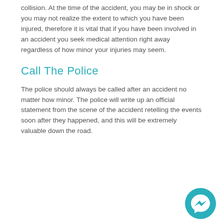collision. At the time of the accident, you may be in shock or you may not realize the extent to which you have been injured, therefore it is vital that if you have been involved in an accident you seek medical attention right away regardless of how minor your injuries may seem.
Call The Police
The police should always be called after an accident no matter how minor. The police will write up an official statement from the scene of the accident retelling the events soon after they happened, and this will be extremely valuable down the road.
[Figure (other): Teal circular Messenger chat icon button in the bottom-right corner]